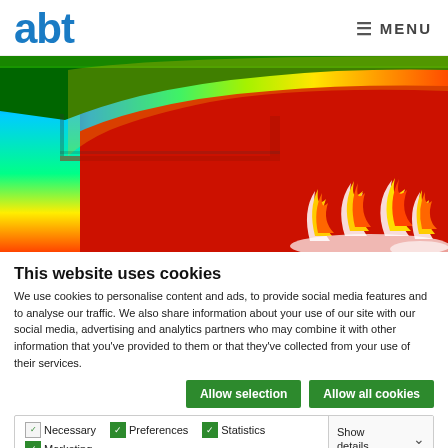abt  ≡ MENU
[Figure (engineering-diagram): CFD simulation result showing a cross-section of a component with a rainbow colormap (blue to red) indicating temperature or velocity distribution. The right portion shows a red hot zone with illustrated white and gold/red flame graphics overlaid.]
This website uses cookies
We use cookies to personalise content and ads, to provide social media features and to analyse our traffic. We also share information about your use of our site with our social media, advertising and analytics partners who may combine it with other information that you've provided to them or that they've collected from your use of their services.
Allow selection  Allow all cookies
Necessary  Preferences  Statistics  Marketing  Show details